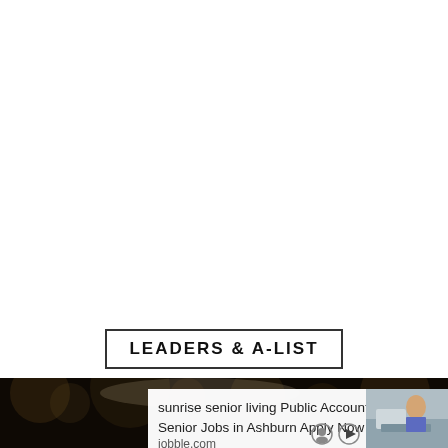LEADERS & A-LIST
[Figure (photo): Dark bokeh background photo of a person, partially visible at bottom of page]
sunrise senior living Public Accounting - Senior Jobs in Ashburn Apply Now
jobble.com